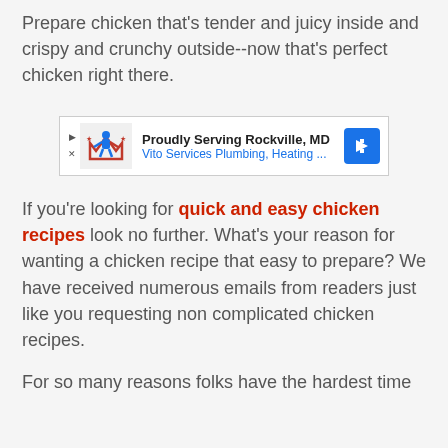Prepare chicken that's tender and juicy inside and crispy and crunchy outside--now that's perfect chicken right there.
[Figure (screenshot): Advertisement banner for Vito Services Plumbing, Heating with text 'Proudly Serving Rockville, MD' and blue arrow icon]
If you're looking for quick and easy chicken recipes look no further. What's your reason for wanting a chicken recipe that easy to prepare? We have received numerous emails from readers just like you requesting non complicated chicken recipes.
For so many reasons folks have the hardest time